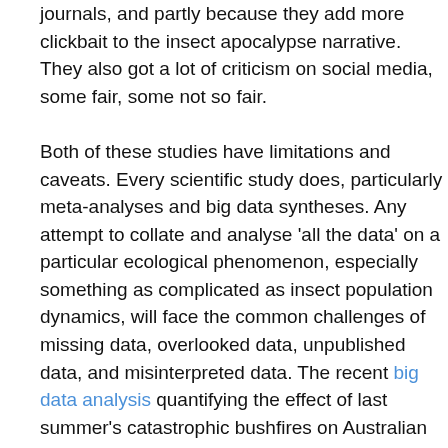journals, and partly because they add more clickbait to the insect apocalypse narrative. They also got a lot of criticism on social media, some fair, some not so fair.
Both of these studies have limitations and caveats. Every scientific study does, particularly meta-analyses and big data syntheses. Any attempt to collate and analyse 'all the data' on a particular ecological phenomenon, especially something as complicated as insect population dynamics, will face the common challenges of missing data, overlooked data, unpublished data, and misinterpreted data. The recent big data analysis quantifying the effect of last summer's catastrophic bushfires on Australian biodiversity got huge global media attention, but no one seemed to care that it completely ignored invertebrate biodiversity.